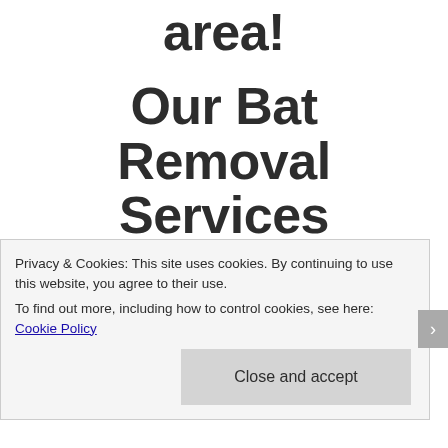area!
Our Bat Removal Services Directory
Privacy & Cookies: This site uses cookies. By continuing to use this website, you agree to their use.
To find out more, including how to control cookies, see here: Cookie Policy